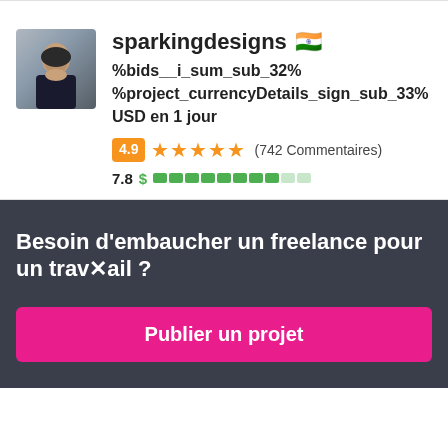[Figure (photo): Profile photo of a woman with dark hair wearing dark clothing, avatar thumbnail]
sparkingdesigns 🇮🇳
%bids__i_sum_sub_32% %project_currencyDetails_sign_sub_33% USD en 1 jour
4.9 ★★★★★ (742 Commentaires)
7.8 $ ██████████░░
Besoin d'embaucher un freelance pour un travail ?
Publier un projet